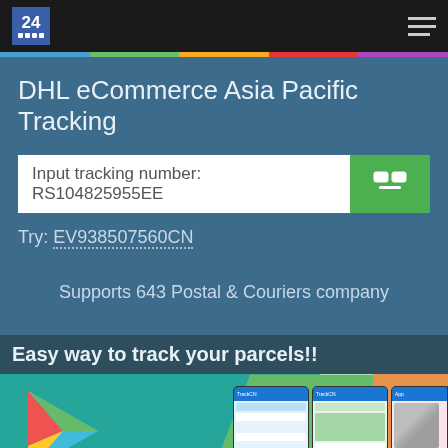24 [logo] navigation bar
DHL eCommerce Asia Pacific Tracking
Input tracking number: RS104825955EE
Try: EV938507560CN
Supports 643 Postal & Couriers company
Easy way to track your parcels!!
[Figure (screenshot): Mobile app promotional section with Google Play logo, app screenshots on phones, and an Up button]